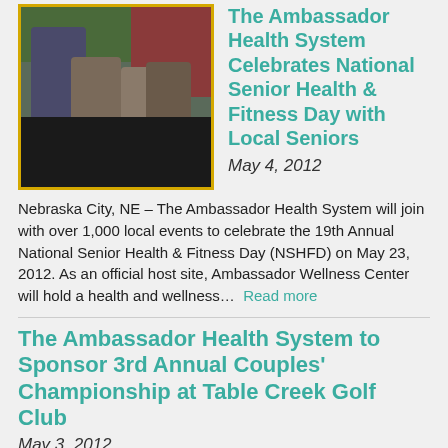[Figure (photo): Photo of people at a health fair or registration table in a gymnasium setting. Several individuals are standing and seated around a table covered with a dark tablecloth.]
The Ambassador Health System Celebrates National Senior Health & Fitness Day with Local Seniors
May 4, 2012
Nebraska City, NE – The Ambassador Health System will join with over 1,000 local events to celebrate the 19th Annual National Senior Health & Fitness Day (NSHFD) on May 23, 2012. As an official host site, Ambassador Wellness Center will hold a health and wellness… Read more
The Ambassador Health System to Sponsor 3rd Annual Couples' Championship at Table Creek Golf Club
May 3, 2012